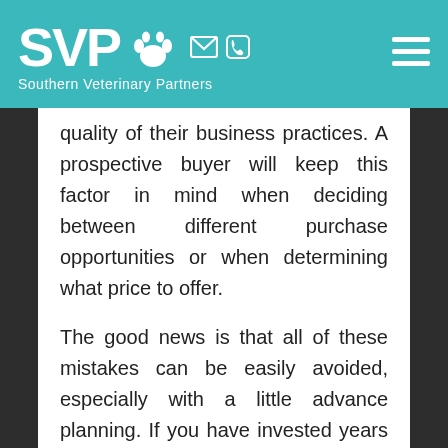[Figure (logo): SVP Southern Veterinary Partners logo with paw print icon, email and phone icons, and hamburger menu on teal background header]
quality of their business practices. A prospective buyer will keep this factor in mind when deciding between different purchase opportunities or when determining what price to offer.
The good news is that all of these mistakes can be easily avoided, especially with a little advance planning. If you have invested years of your life in